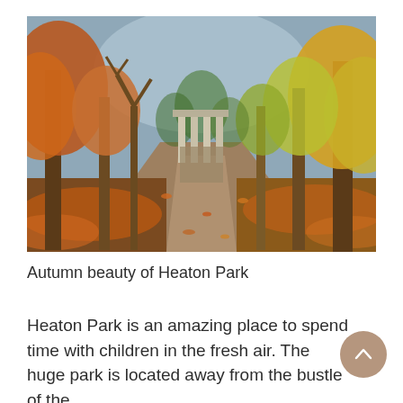[Figure (photo): Autumn scene in Heaton Park showing a tree-lined path covered in orange and red fallen leaves, leading to a classical columned structure/temple in the background. Trees with golden and orange foliage frame both sides of the path.]
Autumn beauty of Heaton Park
Heaton Park is an amazing place to spend time with children in the fresh air. The huge park is located away from the bustle of the